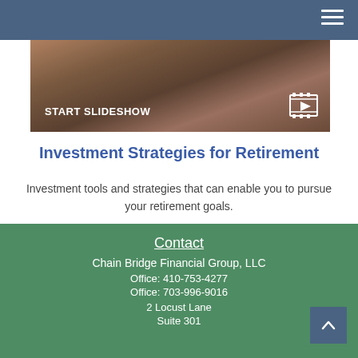[Figure (screenshot): START SLIDESHOW banner with a dark image background showing a play/slideshow icon on the right]
Investment Strategies for Retirement
Investment tools and strategies that can enable you to pursue your retirement goals.
Contact
Chain Bridge Financial Group, LLC
Office: 410-753-4277
Office: 703-996-9016
2 Locust Lane
Suite 301